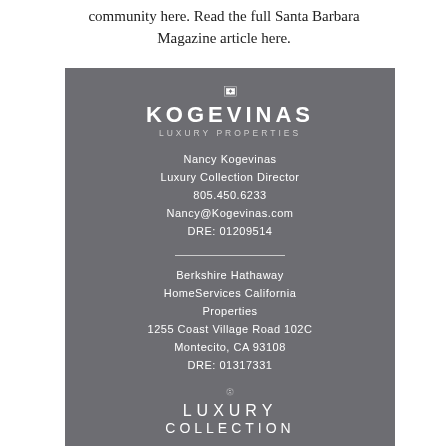community here. Read the full Santa Barbara Magazine article here.
[Figure (advertisement): Kogevinas Luxury Properties advertisement on dark gray background. Features KK mirrored logo in white rectangle, brand name KOGEVINAS LUXURY PROPERTIES, contact info for Nancy Kogevinas (Luxury Collection Director, 805.450.6233, Nancy@Kogevinas.com, DRE: 01209514), Berkshire Hathaway HomeServices California Properties address (1255 Coast Village Road 102C, Montecito, CA 93108, DRE: 01317331), BHHS circular logo, and LUXURY COLLECTION text at bottom.]